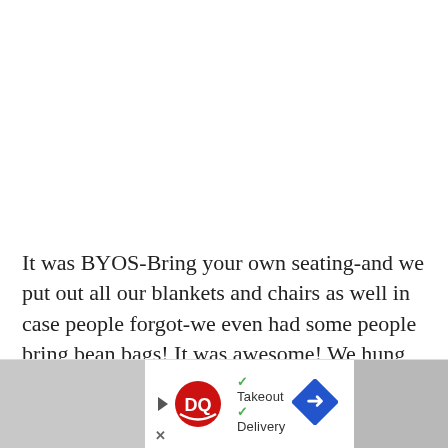It was BYOS-Bring your own seating-and we put out all our blankets and chairs as well in case people forgot-we even had some people bring bean bags! It was awesome! We hung up the striped garland originally from Charlotte's circus party, which is the perfect way to give a large space party vibes!
[Figure (other): Advertisement banner for Dairy Queen (DQ) showing logo, checkmarks for Takeout and Delivery options, a blue diamond arrow icon, and partial images of striped items on either side.]